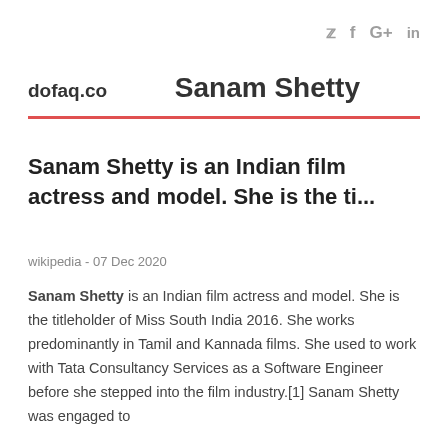𝕏 f G+ in
dofaq.co
Sanam Shetty
Sanam Shetty is an Indian film actress and model. She is the ti...
wikipedia - 07 Dec 2020
Sanam Shetty is an Indian film actress and model. She is the titleholder of Miss South India 2016. She works predominantly in Tamil and Kannada films. She used to work with Tata Consultancy Services as a Software Engineer before she stepped into the film industry.[1] Sanam Shetty was engaged to